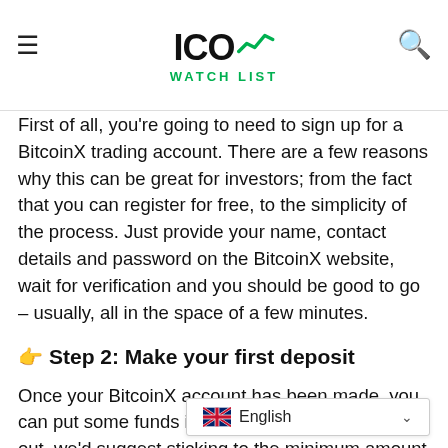ICO WATCHLIST
First of all, you're going to need to sign up for a BitcoinX trading account. There are a few reasons why this can be great for investors; from the fact that you can register for free, to the simplicity of the process. Just provide your name, contact details and password on the BitcoinX website, wait for verification and you should be good to go – usually, all in the space of a few minutes.
Step 2: Make your first deposit
Once your BitcoinX account has been made, you can put some funds into it. If you're just starting out, we'd suggest sticking to the minimum amount of £250 until you feel more confident to go higher. Usually, you'll discover that d... be too difficult and transactions...